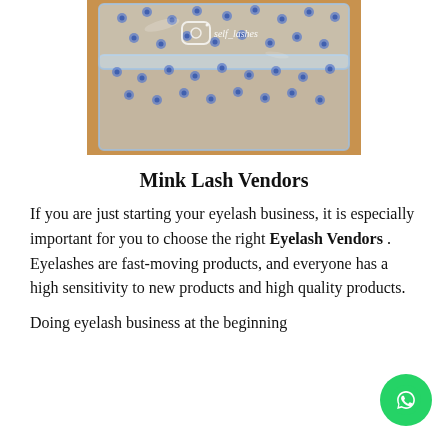[Figure (photo): A transparent acrylic eyelash case decorated with blue floral pattern and Instagram handle '@self_lashes', placed on an orange/tan surface]
Mink Lash Vendors
If you are just starting your eyelash business, it is especially important for you to choose the right Eyelash Vendors . Eyelashes are fast-moving products, and everyone has a high sensitivity to new products and high quality products.
Doing eyelash business at the beginning